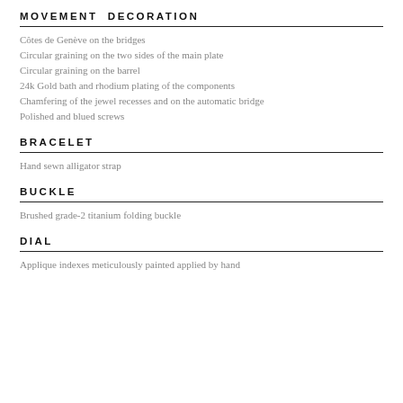MOVEMENT DECORATION
Côtes de Genève on the bridges
Circular graining on the two sides of the main plate
Circular graining on the barrel
24k Gold bath and rhodium plating of the components
Chamfering of the jewel recesses and on the automatic bridge
Polished and blued screws
BRACELET
Hand sewn alligator strap
BUCKLE
Brushed grade-2 titanium folding buckle
DIAL
Applique indexes meticulously painted applied by hand